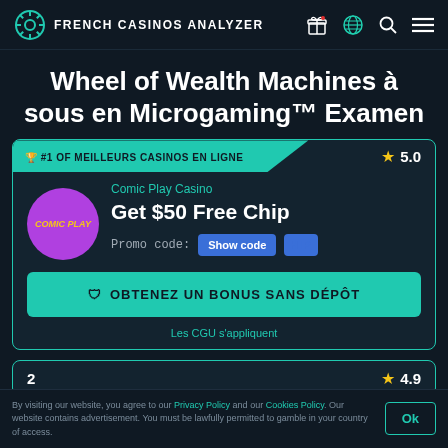FRENCH CASINOS ANALYZER
Wheel of Wealth Machines à sous en Microgaming™ Examen
#1 OF MEILLEURS CASINOS EN LIGNE  ★ 5.0
Comic Play Casino
Get $50 Free Chip
Promo code: Show code HIP
OBTENEZ UN BONUS SANS DÉPÔT
Les CGU s'appliquent
2  ★ 4.9
By visiting our website, you agree to our Privacy Policy and our Cookies Policy. Our website contains advertisement. You must be lawfully permitted to gamble in your country of access.